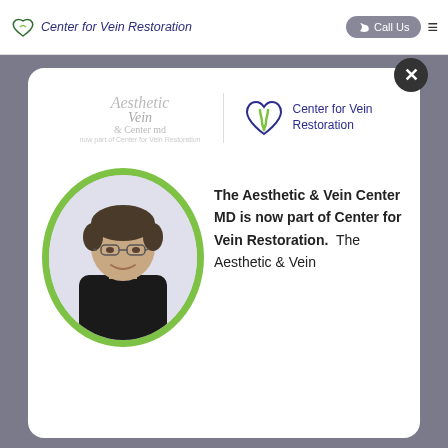Center for Vein Restoration | Call Us
[Figure (logo): Aesthetic Vein & Center MD logo (now part of Center for Vein Restoration)]
[Figure (logo): Center for Vein Restoration logo with heart/vein icon in blue and green]
[Figure (photo): Doctor in black scrubs, smiling, wearing glasses, circular photo with green border]
The Aesthetic & Vein Center MD is now part of Center for Vein Restoration.  The Aesthetic & Vein